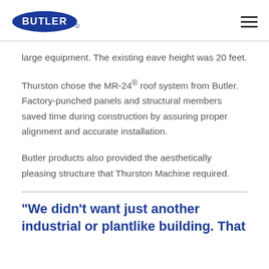BUTLER
large equipment. The existing eave height was 20 feet.
Thurston chose the MR-24® roof system from Butler. Factory-punched panels and structural members saved time during construction by assuring proper alignment and accurate installation.
Butler products also provided the aesthetically pleasing structure that Thurston Machine required.
“We didn’t want just another industrial or plantlike building. That